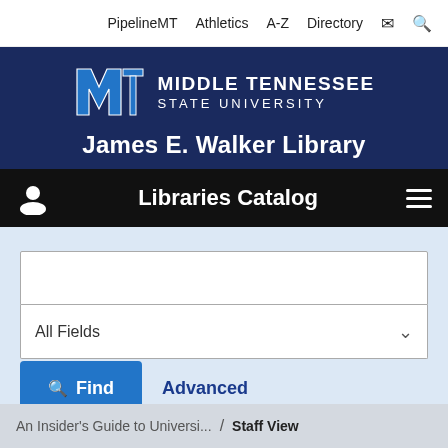PipelineMT  Athletics  A-Z  Directory
[Figure (logo): Middle Tennessee State University logo with MT letters in blue and white, and university name text]
James E. Walker Library
Libraries Catalog
[Figure (screenshot): Search interface with text input field, All Fields dropdown, Find button, and Advanced link]
An Insider's Guide to Universi... / Staff View